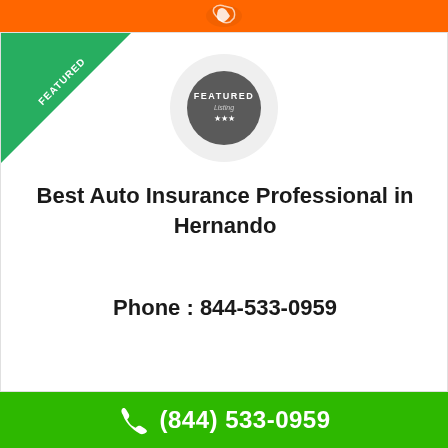[Figure (infographic): Orange top bar with phone/hand icon]
[Figure (infographic): Green diagonal FEATURED ribbon in top-left corner of listing card]
[Figure (infographic): Circular featured listing badge with gray background circle and dark gray inner circle reading FEATURED Listing with three stars]
Best Auto Insurance Professional in Hernando
Phone : 844-533-0959
[Figure (infographic): Green bottom bar with white phone icon and phone number (844) 533-0959]